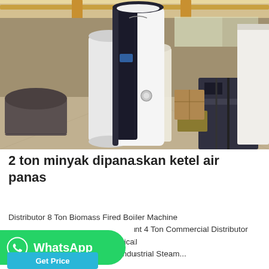[Figure (photo): Industrial warehouse with tall white cylindrical boiler units and machinery on the factory floor, overhead crane visible]
2 ton minyak dipanaskan ketel air panas
Distributor 8 Ton Biomass Fired Boiler Machine nt 4 Ton Commercial Distributor mass boiler in indiused for chemical plant. 1 Cheap - 1 Diesel Fired Industrial Steam...